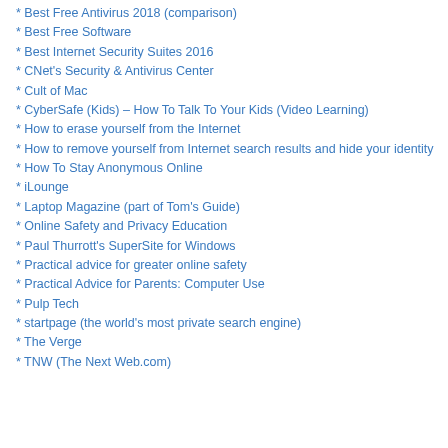* Best Free Antivirus 2018 (comparison)
* Best Free Software
* Best Internet Security Suites 2016
* CNet's Security & Antivirus Center
* Cult of Mac
* CyberSafe (Kids) – How To Talk To Your Kids (Video Learning)
* How to erase yourself from the Internet
* How to remove yourself from Internet search results and hide your identity
* How To Stay Anonymous Online
* iLounge
* Laptop Magazine (part of Tom's Guide)
* Online Safety and Privacy Education
* Paul Thurrott's SuperSite for Windows
* Practical advice for greater online safety
* Practical Advice for Parents: Computer Use
* Pulp Tech
* startpage (the world's most private search engine)
* The Verge
* TNW (The Next Web.com)